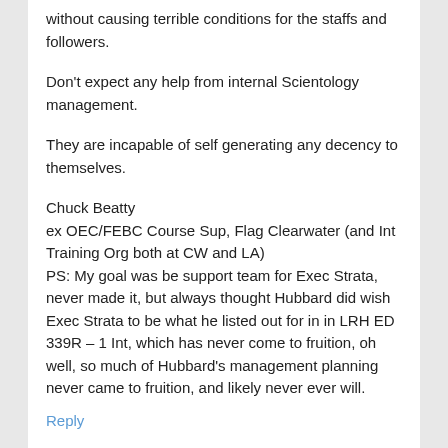without causing terrible conditions for the staffs and followers.
Don't expect any help from internal Scientology management.
They are incapable of self generating any decency to themselves.
Chuck Beatty
ex OEC/FEBC Course Sup, Flag Clearwater (and Int Training Org both at CW and LA)
PS: My goal was be support team for Exec Strata, never made it, but always thought Hubbard did wish Exec Strata to be what he listed out for in in LRH ED 339R – 1 Int, which has never come to fruition, oh well, so much of Hubbard's management planning never came to fruition, and likely never ever will.
Reply